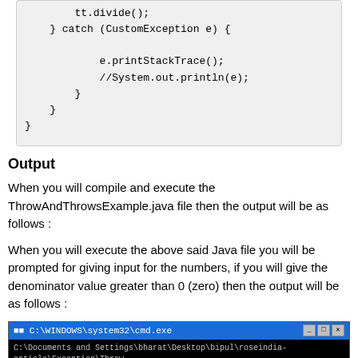[Figure (screenshot): Code block showing Java catch block with tt.divide(), CustomException catch, e.printStackTrace(), //System.out.println(e), and closing braces]
Output
When you will compile and execute the ThrowAndThrowsExample.java file then the output will be as follows :
When you will execute the above said Java file you will be prompted for giving input for the numbers, if you will give the denominator value greater than 0 (zero) then the output will be as follows :
[Figure (screenshot): Windows command prompt (C:\WINDOWS\system32\cmd.exe) showing javac and java commands for ThrowAndThrowsExample, with Enter Numerator : prompt and 10 entered]